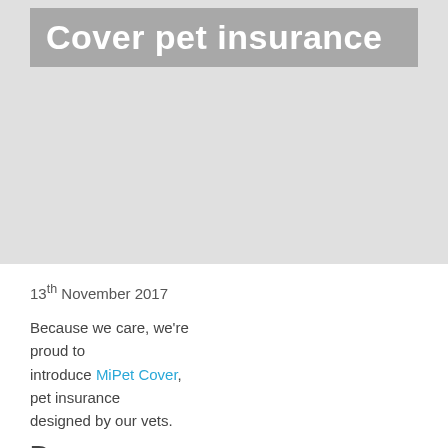[Figure (photo): Large light grey background image area with a dark grey semi-transparent banner overlay containing the text 'Cover pet insurance' in bold white font.]
13th November 2017
Because we care, we're proud to introduce MiPet Cover, pet insurance designed by our vets.
D...